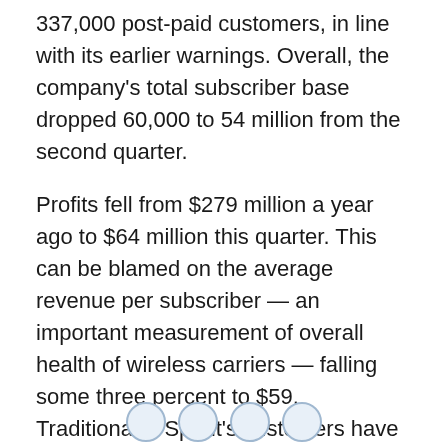337,000 post-paid customers, in line with its earlier warnings. Overall, the company's total subscriber base dropped 60,000 to 54 million from the second quarter.
Profits fell from $279 million a year ago to $64 million this quarter. This can be blamed on the average revenue per subscriber — an important measurement of overall health of wireless carriers — falling some three percent to $59. Traditionally, Sprint's customers have been some of the quickest to spend extra money on added features.
Sprint says it is working on several measures to improve its business, including a simplification of pricing, expansion of its customer care staff, and widening its distribution network.